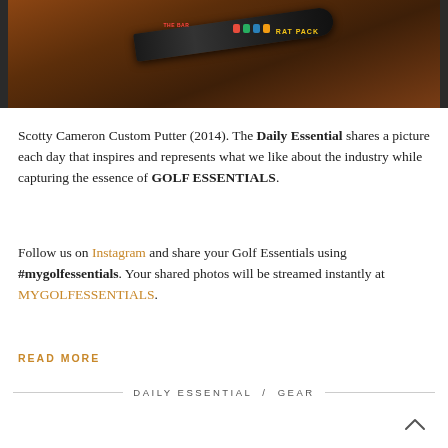[Figure (photo): Close-up photo of a Scotty Cameron custom putter head with 'RAT PACK' text and colorful bar accents, resting on a warm brown/orange background.]
Scotty Cameron Custom Putter (2014). The Daily Essential shares a picture each day that inspires and represents what we like about the industry while capturing the essence of GOLF ESSENTIALS.
Follow us on Instagram and share your Golf Essentials using #mygolfessentials. Your shared photos will be streamed instantly at MYGOLFESSENTIALS.
READ MORE
DAILY ESSENTIAL / GEAR